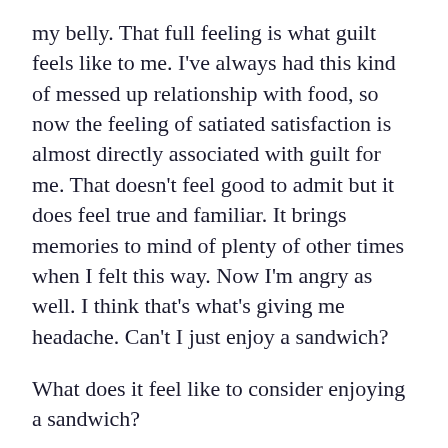my belly. That full feeling is what guilt feels like to me. I've always had this kind of messed up relationship with food, so now the feeling of satiated satisfaction is almost directly associated with guilt for me. That doesn't feel good to admit but it does feel true and familiar. It brings memories to mind of plenty of other times when I felt this way. Now I'm angry as well. I think that's what's giving me headache. Can't I just enjoy a sandwich?
What does it feel like to consider enjoying a sandwich?
And so the contemplation went on in this way (I'm pleased to say that this was a few years ago and I now have a much healthier relationship with food!).